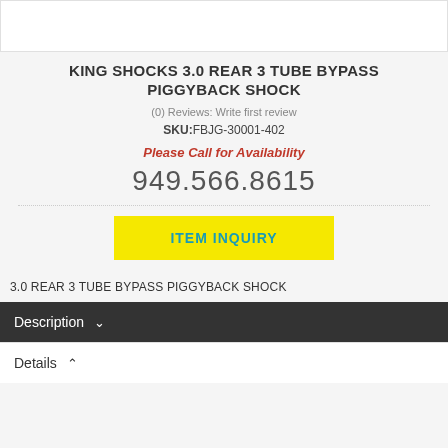[Figure (photo): Product image area (white box, partially visible at top)]
KING SHOCKS 3.0 REAR 3 TUBE BYPASS PIGGYBACK SHOCK
(0) Reviews: Write first review
SKU:FBJG-30001-402
Please Call for Availability
949.566.8615
ITEM INQUIRY
3.0 REAR 3 TUBE BYPASS PIGGYBACK SHOCK
Description
Details